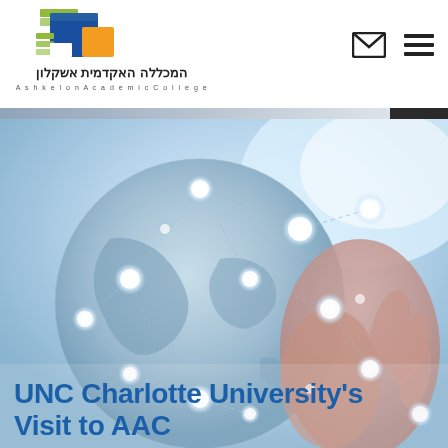[Figure (logo): Ashkelon Academic College logo with colorful geometric squares/rectangles and Hebrew text 'המכללה האקדמית אשקלון' and English text 'Ashkelon Academic College']
[Figure (photo): Globe with network connection nodes and dots overlaid, person holding a transparent globe, light blue tones, representing international academic collaboration]
UNC Charlotte University's Visit to AAC